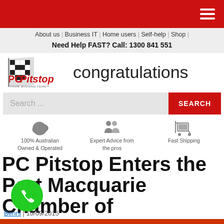PC Pitstop website header with hamburger menu
About us | Business IT | Home users | Self-help | Shop |
Need Help FAST? Call: 1300 841 551
[Figure (logo): PC Pitstop logo with checkered flag and text 'YOUR WINNING TEAM' followed by 'congratulations']
Search ...
100% Australian Owned & Operated
Expert Advice from the pros
Fast Shipping
PC Pitstop Enters the Port Macquarie Chamber of Commerce Hall of Fame!
Ben...rs | 10/09/2015